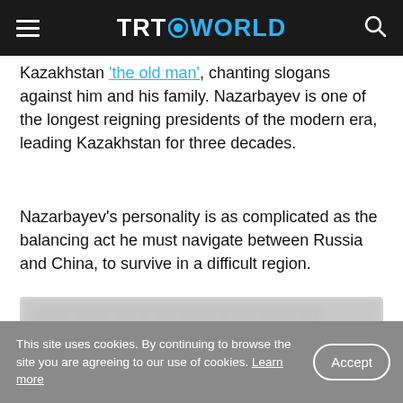TRT WORLD
Kazakhstan 'the old man', chanting slogans against him and his family. Nazarbayev is one of the longest reigning presidents of the modern era, leading Kazakhstan for three decades.
Nazarbayev's personality is as complicated as the balancing act he must navigate between Russia and China, to survive in a difficult region.
[Figure (photo): Blurred image of a person, partially obscured]
This site uses cookies. By continuing to browse the site you are agreeing to our use of cookies. Learn more